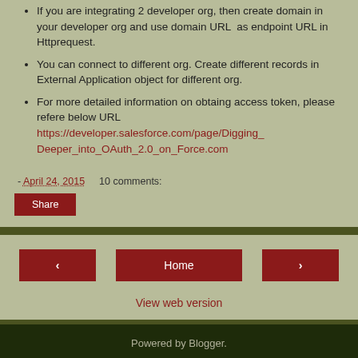If you are integrating 2 developer org, then create domain in your developer org and use domain URL  as endpoint URL in Httprequest.
You can connect to different org. Create different records in External Application object for different org.
For more detailed information on obtaing access token, please refere below URL https://developer.salesforce.com/page/Digging_Deeper_into_OAuth_2.0_on_Force.com
- April 24, 2015    10 comments:
Share
Home
View web version
Powered by Blogger.